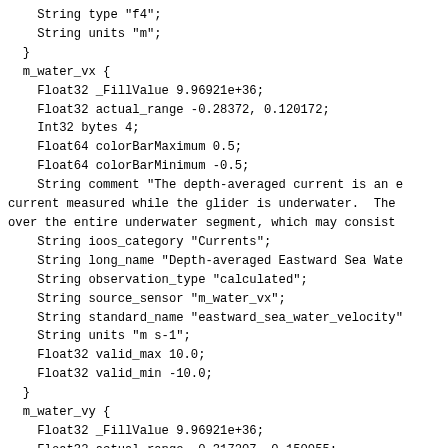String type "f4";
    String units "m";
  }
  m_water_vx {
    Float32 _FillValue 9.96921e+36;
    Float32 actual_range -0.28372, 0.120172;
    Int32 bytes 4;
    Float64 colorBarMaximum 0.5;
    Float64 colorBarMinimum -0.5;
    String comment "The depth-averaged current is an e
current measured while the glider is underwater.  The
over the entire underwater segment, which may consist
    String ioos_category "Currents";
    String long_name "Depth-averaged Eastward Sea Wate
    String observation_type "calculated";
    String source_sensor "m_water_vx";
    String standard_name "eastward_sea_water_velocity"
    String units "m s-1";
    Float32 valid_max 10.0;
    Float32 valid_min -10.0;
  }
  m_water_vy {
    Float32 _FillValue 9.96921e+36;
    Float32 actual_range -0.317207, 0.150055;
    Int32 bytes 4;
    Float64 colorBarMaximum 0.5;